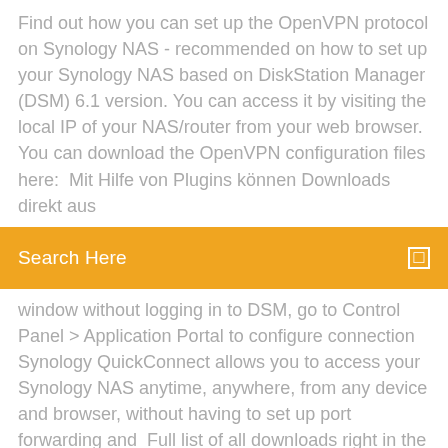Find out how you can set up the OpenVPN protocol on Synology NAS - recommended on how to set up your Synology NAS based on DiskStation Manager (DSM) 6.1 version. You can access it by visiting the local IP of your NAS/router from your web browser. You can download the OpenVPN configuration files here:  Mit Hilfe von Plugins können Downloads direkt aus
Search Here
window without logging in to DSM, go to Control Panel > Application Portal to configure connection  Synology QuickConnect allows you to access your Synology NAS anytime, anywhere, from any device and browser, without having to set up port forwarding and  Full list of all downloads right in the browser, along with the ability to One of the only things I'll really miss will be Synology Download Station,
Kite flying game pc download
Best site to download mods for ats